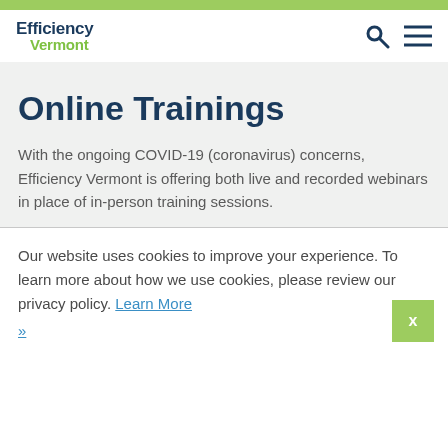[Figure (logo): Efficiency Vermont logo with search and menu icons in header]
Online Trainings
With the ongoing COVID-19 (coronavirus) concerns, Efficiency Vermont is offering both live and recorded webinars in place of in-person training sessions.
Our website uses cookies to improve your experience. To learn more about how we use cookies, please review our privacy policy. Learn More »